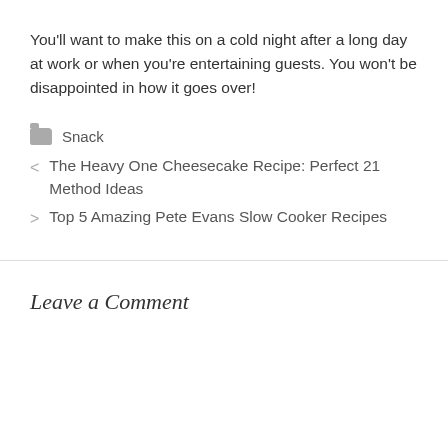You'll want to make this on a cold night after a long day at work or when you're entertaining guests. You won't be disappointed in how it goes over!
Snack
< The Heavy One Cheesecake Recipe: Perfect 21 Method Ideas
> Top 5 Amazing Pete Evans Slow Cooker Recipes
Leave a Comment